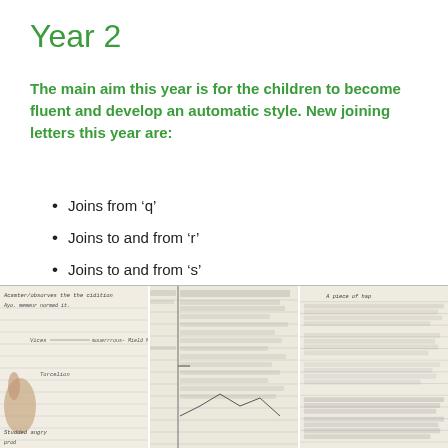Year 2
The main aim this year is for the children to become fluent and develop an automatic style. New joining letters this year are:
Joins from ‘q’
Joins to and from ‘r’
Joins to and from ‘s’
Joins from ‘f’
[Figure (photo): Three photographs of children's handwriting work in notebooks, showing cursive writing exercises. Left panel shows a mind-map or notes page with handwritten words including 'Vices', 'Morceliion', 'Studded angry'. Middle panel shows a page of handwritten text/paragraphs. Right panel shows more handwritten paragraphs.]